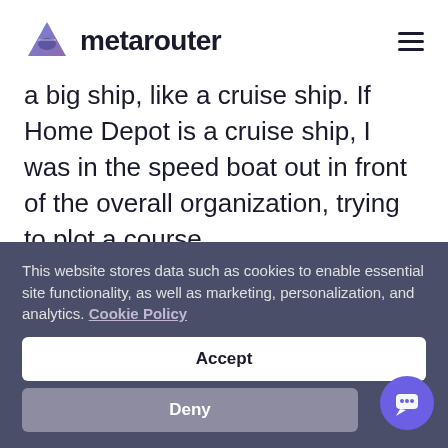metarouter
a big ship, like a cruise ship. If Home Depot is a cruise ship, I was in the speed boat out in front of the overall organization, trying to plot a course.
It was exciting and I worked alongside some
This website stores data such as cookies to enable essential site functionality, as well as marketing, personalization, and analytics. Cookie Policy
Accept
Deny